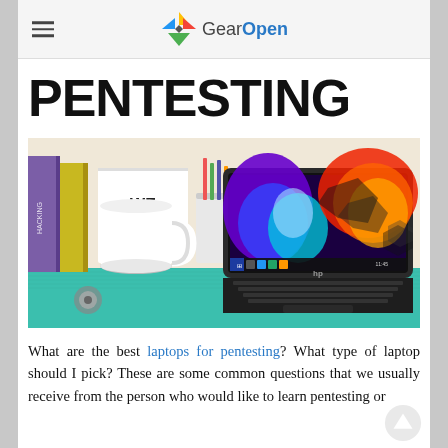GearOpen
PENTESTING
[Figure (photo): HP laptop open on a desk with a colorful abstract wallpaper on screen, surrounded by books, a mug, and office supplies on a teal cutting mat.]
What are the best laptops for pentesting? What type of laptop should I pick? These are some common questions that we usually receive from the person who would like to learn pentesting or